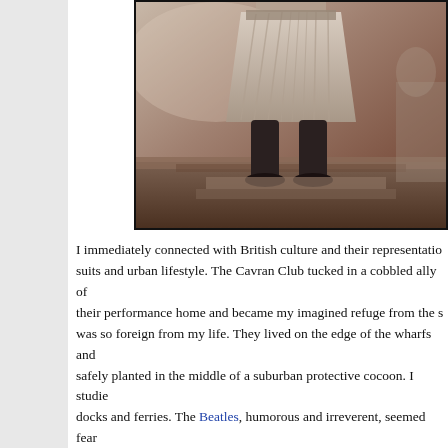[Figure (photo): Partial photograph showing the lower body of a person wearing a pleated skirt and dark stockings or tights, standing on what appears to be steps or a platform outdoors. The image is cropped and positioned in the upper right of the page with a dark border.]
I immediately connected with British culture and their representatio... suits and urban lifestyle. The Cavran Club tucked in a cobbled ally of... their performance home and became my imagined refuge from the s... was so foreign from my life. They lived on the edge of the wharfs and... safely planted in the middle of a suburban protective cocoon. I studie... docks and ferries. The Beatles, humorous and irreverent, seemed fear... candid and unaffected remarks; but for their fans, they became that n... life. Aware of their way in the world, more than anything I wanted to...
So we bought their albums, in addition to fan magazines, posters, tra... tio...